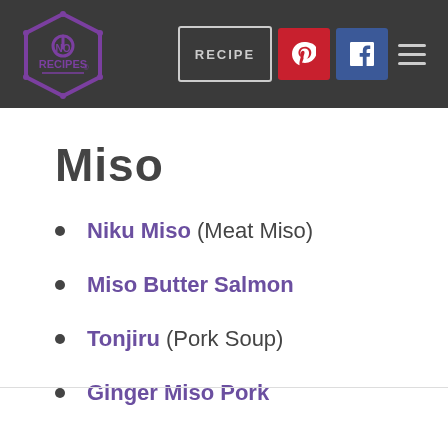No Recipes — RECIPE | Pinterest | Facebook | Menu
Miso
Niku Miso (Meat Miso)
Miso Butter Salmon
Tonjiru (Pork Soup)
Ginger Miso Pork